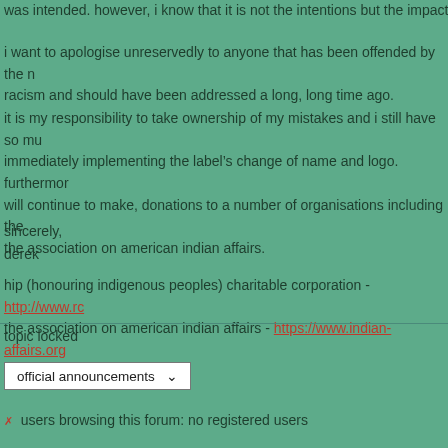was intended. however, i know that it is not the intentions but the impact t
i want to apologise unreservedly to anyone that has been offended by the racism and should have been addressed a long, long time ago.
it is my responsibility to take ownership of my mistakes and i still have so mu immediately implementing the label's change of name and logo. furthermor will continue to make, donations to a number of organisations including the the association on american indian affairs.
sincerely,
derek
hip (honouring indigenous peoples) charitable corporation - http://www.ro the association on american indian affairs - https://www.indian-affairs.org
topic locked
official announcements
users browsing this forum: no registered users